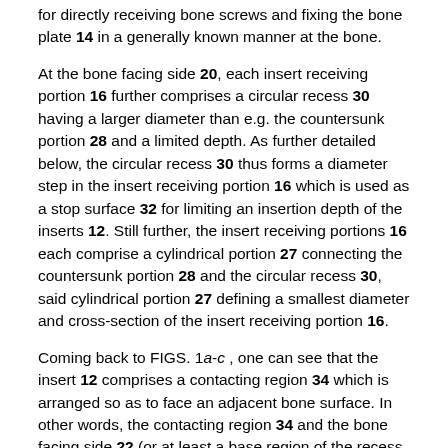for directly receiving bone screws and fixing the bone plate 14 in a generally known manner at the bone.
At the bone facing side 20, each insert receiving portion 16 further comprises a circular recess 30 having a larger diameter than e.g. the countersunk portion 28 and a limited depth. As further detailed below, the circular recess 30 thus forms a diameter step in the insert receiving portion 16 which is used as a stop surface 32 for limiting an insertion depth of the inserts 12. Still further, the insert receiving portions 16 each comprise a cylindrical portion 27 connecting the countersunk portion 28 and the circular recess 30, said cylindrical portion 27 defining a smallest diameter and cross-section of the insert receiving portion 16.
Coming back to FIGS. 1a-c , one can see that the insert 12 comprises a contacting region 34 which is arranged so as to face an adjacent bone surface. In other words, the contacting region 34 and the bone facing side 22 (or at least a base region of the recess 22 and/or the rim 24 of the bone facing side 20) are substantially parallel to one another. As further evident from FIG. 1c , the contacting region 34 extends over the complete width W of the recess